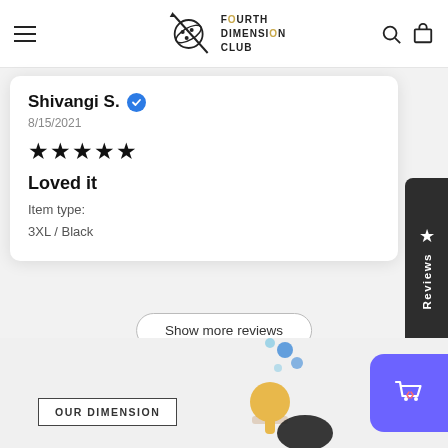[Figure (screenshot): Website header with hamburger menu, Fourth Dimension Club logo with icon, search and cart icons]
Shivangi S. ✓
8/15/2021
★★★★★
Loved it
Item type:
3XL / Black
Reviews
Show more reviews
OUR DIMENSION
[Figure (illustration): Cartoon character illustration at bottom of page with floating bubbles]